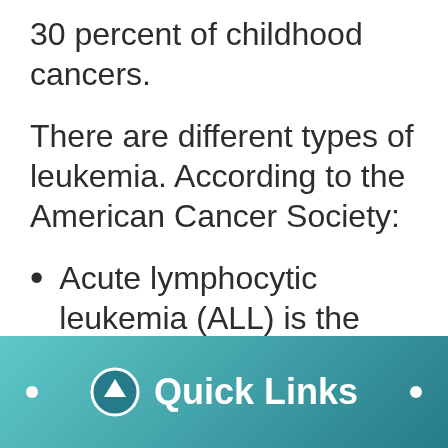30 percent of childhood cancers.
There are different types of leukemia. According to the American Cancer Society:
Acute lymphocytic leukemia (ALL) is the type of leukemia that most
Quick Links